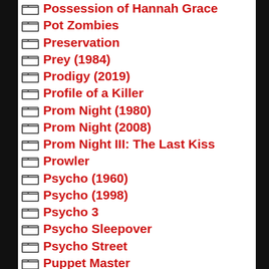Possession of Hannah Grace
Pot Zombies
Preservation
Prey (1984)
Prodigy (2019)
Profile of a Killer
Prom Night (1980)
Prom Night (2008)
Prom Night III: The Last Kiss
Prowler
Psycho (1960)
Psycho (1998)
Psycho 3
Psycho Sleepover
Psycho Street
Puppet Master